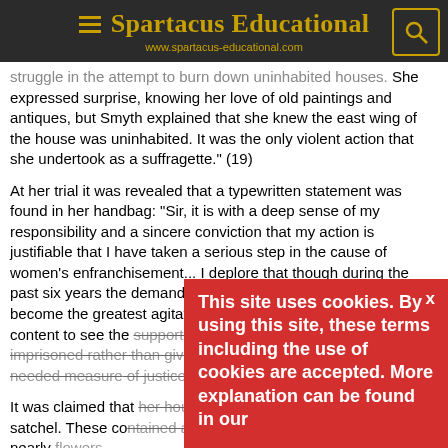Spartacus Educational
www.spartacus-educational.com
struggle in the attempt to burn down uninhabited houses. She expressed surprise, knowing her love of old paintings and antiques, but Smyth explained that she knew the east wing of the house was uninhabited. It was the only violent action that she undertook as a suffragette." (19)
At her trial it was revealed that a typewritten statement was found in her handbag: "Sir, it is with a deep sense of my responsibility and a sincere conviction that my action is justifiable that I have taken a serious step in the cause of women's enfranchisement... I deplore that though during the past six years the demand for political liberty for women has become the greatest agitation of the time, politicians were content to see the supporters violently treated and unjustly imprisoned rather than give them the long-delayed and much-needed measure of justice."
It was claimed that her house was searched and a leather satchel. These contained a bottle and two cans which contained nearly
This site uses cookies. By using this site, these terms including the use of cookies are accepted. More explanation can be found in our